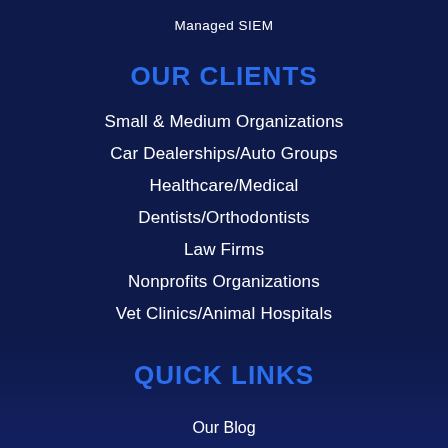Managed SIEM
OUR CLIENTS
Small & Medium Organizations
Car Dealerships/Auto Groups
Healthcare/Medical
Dentists/Orthodontists
Law Firms
Nonprofits Organizations
Vet Clinics/Animal Hospitals
QUICK LINKS
Our Blog